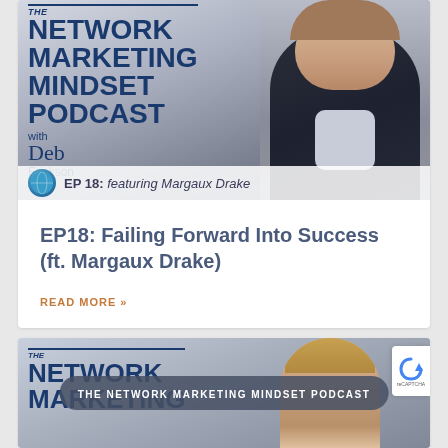[Figure (photo): Podcast banner for The Network Marketing Mindset Podcast with Deb Erickson, EP 18 featuring Margaux Drake, showing a woman in a dark jacket with podcast title text]
EP18: Failing Forward Into Success (ft. Margaux Drake)
READ MORE »
[Figure (screenshot): Partial second podcast card showing The Network Marketing and Marketing text with a person, overlay bar reading THE NETWORK MARKETING MINDSET PODCAST, and reCAPTCHA badge]